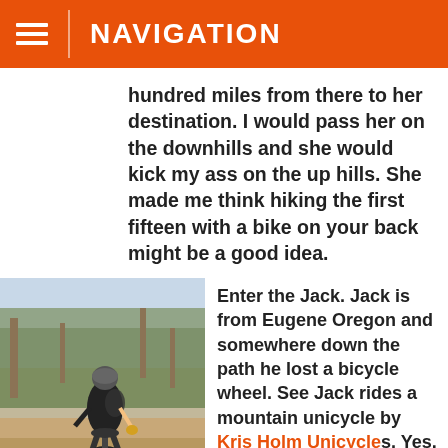NAVIGATION
hundred miles from there to her destination. I would pass her on the downhills and she would kick my ass on the up hills. She made me think hiking the first fifteen with a bike on your back might be a good idea.
[Figure (photo): Person riding a mountain unicycle on a dirt trail surrounded by scrub trees and dry terrain. The rider is wearing a black shirt, helmet, and backpack, with red gear bags attached to the unicycle.]
Enter the Jack. Jack is from Eugene Oregon and somewhere down the path he lost a bicycle wheel. See Jack rides a mountain unicycle by Kris Holm Unicycles. Yes, you read that